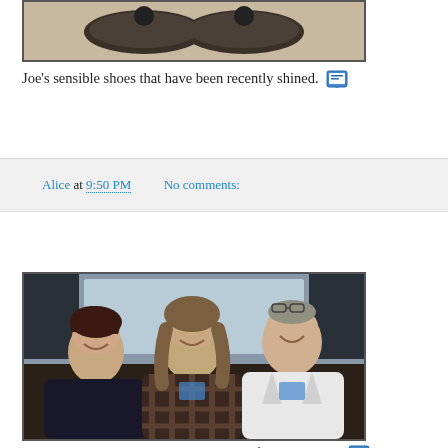[Figure (photo): Photo of Joe's sensible shoes that have been recently shined, shown from above against a light background]
Joe's sensible shoes that have been recently shined. 🖼
Alice at 9:50 PM    No comments:
[Figure (photo): Photo of three women smiling together indoors — Alice, Jenny, and Alane]
Alice, Jenny and Alane. We love the Shifted Librarian! 🖼